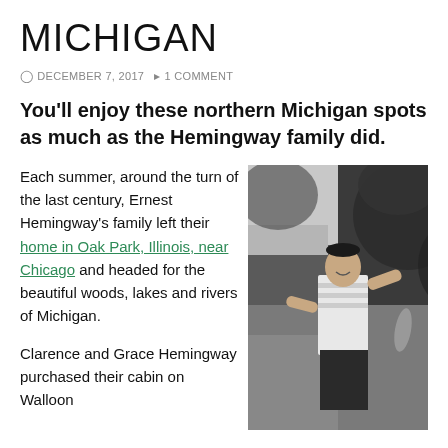MICHIGAN
DECEMBER 7, 2017  1 COMMENT
You'll enjoy these northern Michigan spots as much as the Hemingway family did.
Each summer, around the turn of the last century, Ernest Hemingway's family left their home in Oak Park, Illinois, near Chicago and headed for the beautiful woods, lakes and rivers of Michigan.
Clarence and Grace Hemingway purchased their cabin on Walloon
[Figure (photo): Black and white historical photograph of a young man (Ernest Hemingway) standing outdoors holding a fish, with dense foliage in the background.]